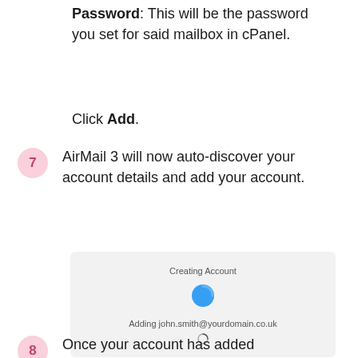Password: This will be the password you set for said mailbox in cPanel.
Click Add.
7. AirMail 3 will now auto-discover your account details and add your account.
[Figure (screenshot): AirMail 3 'Creating Account' dialog showing a spinning progress indicator and the text 'Adding john.smith@yourdomain.co.uk' with a small loading circle below.]
8. Once your account has added